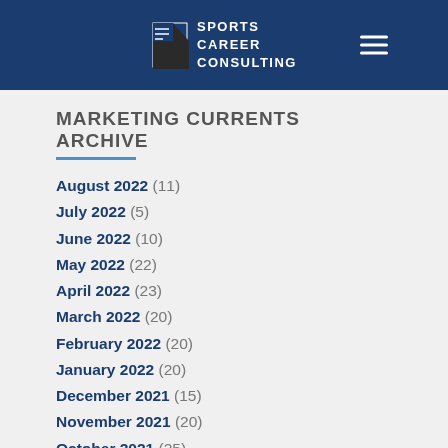Sports Career Consulting
MARKETING CURRENTS ARCHIVE
August 2022 (11)
July 2022 (5)
June 2022 (10)
May 2022 (22)
April 2022 (23)
March 2022 (20)
February 2022 (20)
January 2022 (20)
December 2021 (15)
November 2021 (20)
October 2021 (25)
September 2021 (19)